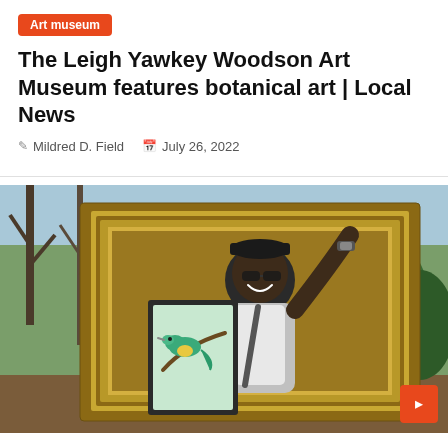Art museum
The Leigh Yawkey Woodson Art Museum features botanical art | Local News
Mildred D. Field   July 26, 2022
[Figure (photo): A smiling man outdoors holding a framed botanical bird painting, himself framed inside a large ornate gold picture frame. Trees and greenery visible in background.]